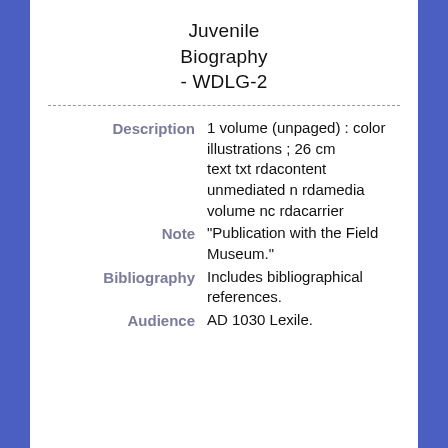Juvenile Biography - WDLG-2
Description: 1 volume (unpaged) : color illustrations ; 26 cm text txt rdacontent unmediated n rdamedia volume nc rdacarrier
Note: "Publication with the Field Museum."
Bibliography: Includes bibliographical references.
Audience: AD 1030 Lexile.